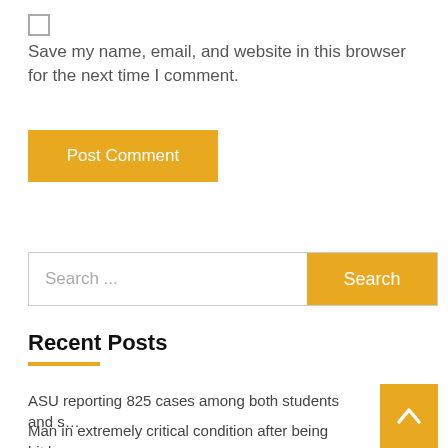[Figure (other): Checkbox (unchecked) for saving name, email, and website]
Save my name, email, and website in this browser for the next time I comment.
[Figure (other): Post Comment button (amber/orange background, white text)]
[Figure (other): Search bar with text input placeholder 'Search ...' and amber Search button]
Recent Posts
ASU reporting 825 cases among both students and s…
Man in extremely critical condition after being hit by…